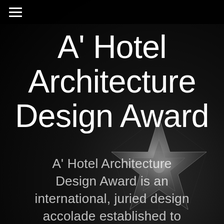≡
A' Hotel Architecture Design Award
A' Hotel Architecture Design Award is an international, juried design accolade established to recognize and promote